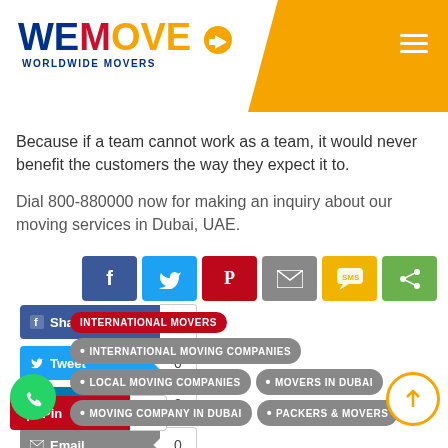[Figure (logo): WeMove Worldwide Movers logo with blue WE, red M, orange OVE text and orange header band with hamburger menu]
Because if a team cannot work as a team, it would never benefit the customers the way they expect it to.
Dial 800-880000 now for making an inquiry about our moving services in Dubai, UAE.
[Figure (infographic): Social sharing buttons row: Facebook (blue), Twitter (light blue), Pinterest (red), Email (grey), SMS (yellow), Share (green)]
[Figure (infographic): Social share count buttons: Facebook Share 0, Twitter Tweet 0, LinkedIn Share 0, Email 0, Pinterest Pin 0]
INTERNATIONAL MOVERS
INTERNATIONAL MOVING COMPANIES
LOCAL MOVING COMPANIES
MOVERS IN DUBAI
MOVING COMPANY IN DUBAI
PACKERS & MOVERS